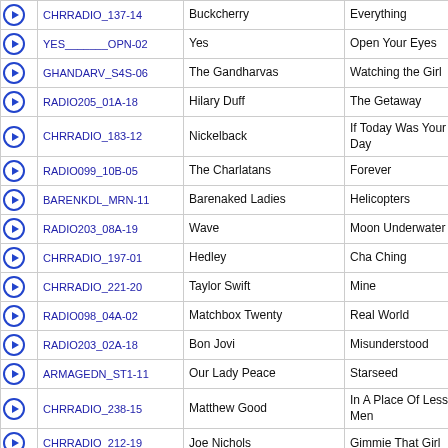|  | Code | Artist | Song |
| --- | --- | --- | --- |
| ▶ | CHRRADIO_137-14 | Buckcherry | Everything |
| ▶ | YES_______OPN-02 | Yes | Open Your Eyes |
| ▶ | GHANDARV_S4S-06 | The Gandharvas | Watching the Girl |
| ▶ | RADIO205_01A-18 | Hilary Duff | The Getaway |
| ▶ | CHRRADIO_183-12 | Nickelback | If Today Was Your Last Day |
| ▶ | RADIO099_10B-05 | The Charlatans | Forever |
| ▶ | BARENKDL_MRN-11 | Barenaked Ladies | Helicopters |
| ▶ | RADIO203_08A-19 | Wave | Moon Underwater |
| ▶ | CHRRADIO_197-01 | Hedley | Cha Ching |
| ▶ | CHRRADIO_221-20 | Taylor Swift | Mine |
| ▶ | RADIO098_04A-02 | Matchbox Twenty | Real World |
| ▶ | RADIO203_02A-18 | Bon Jovi | Misunderstood |
| ▶ | ARMAGEDN_ST1-11 | Our Lady Peace | Starseed |
| ▶ | CHRRADIO_238-15 | Matthew Good | In A Place Of Lesser Men |
| ▶ | CHRRADIO_212-19 | Joe Nichols | Gimmie That Girl |
| ▶ | RHYTMR11_008-17 | E-Type | Back 2 Life |
| ▶ | CHRRADIO_160-18 | Rodney Atkins | Cleaning This Gun (Come on Boy) |
| ▶ | ARMAGEDN_ST1-02 | Journey & Steve Augeri | Remember Me |
| ▶ | CHRRADIO_166-13 | Def Leppard Featuring Tim McGraw | Nine Lives |
| ▶ | CHRRADIO_158-14 | Ozzy Osbourne | Black Rain |
| ▶ | WEEZER___STD-08 | Weezer | In the Garage |